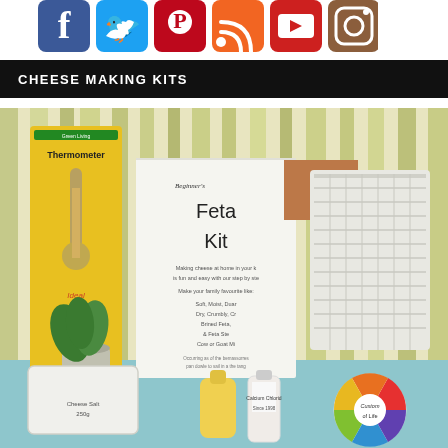[Figure (illustration): Row of social media icons: Facebook, Twitter, Pinterest, RSS, YouTube, Instagram]
CHEESE MAKING KITS
[Figure (photo): A cheese making kit for Feta displayed with various items: a Green Living Thermometer in yellow packaging, a Beginner's Feta Kit instruction card, a white molded plastic cheese mold basket, a bag of Cheese Salt 250g, a small yellow bottle, a bottle of Calcium Chloride, and a colorful pH strip chart disk.]